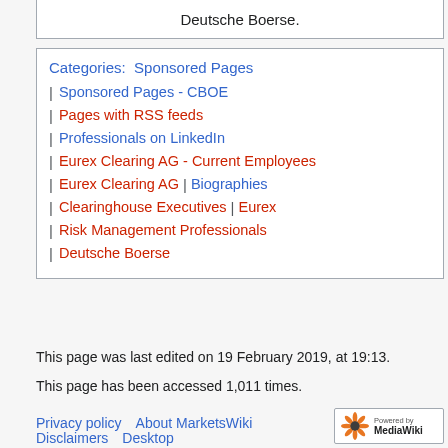Deutsche Boerse.
Categories: Sponsored Pages
Sponsored Pages - CBOE
Pages with RSS feeds
Professionals on LinkedIn
Eurex Clearing AG - Current Employees
Eurex Clearing AG | Biographies
Clearinghouse Executives | Eurex
Risk Management Professionals
Deutsche Boerse
This page was last edited on 19 February 2019, at 19:13.
This page has been accessed 1,011 times.
Privacy policy   About MarketsWiki
Disclaimers   Desktop